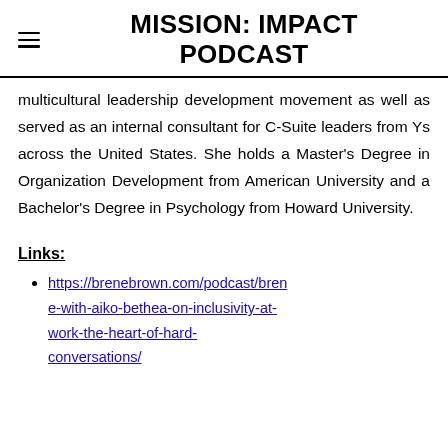MISSION: IMPACT PODCAST
multicultural leadership development movement as well as served as an internal consultant for C-Suite leaders from Ys across the United States. She holds a Master's Degree in Organization Development from American University and a Bachelor's Degree in Psychology from Howard University.
Links:
https://brenebrown.com/podcast/brene-with-aiko-bethea-on-inclusivity-at-work-the-heart-of-hard-conversations/